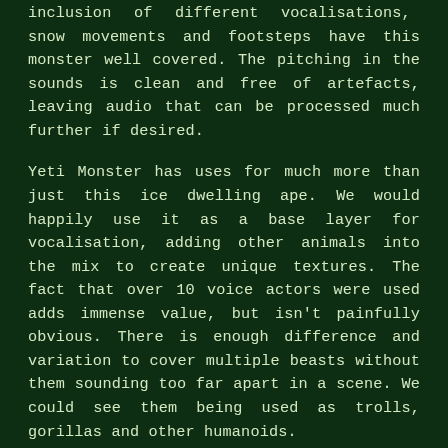inclusion of different vocalisations, snow movements and footsteps have this monster well covered. The pitching in the sounds is clean and free of artefacts, leaving audio that can be processed much further if desired.
Yeti Monster has uses for much more than just this ice dwelling ape. We would happily use it as a base layer for vocalisation, adding other animals into the mix to create unique textures. The fact that over 10 voice actors were used adds immense value, but isn't painfully obvious. There is enough difference and variation to cover multiple beasts without them sounding too far apart in a scene. We could see them being used as trolls, gorillas and other humanoids.
The overall sound is great, the variety is plentiful and it has an 'instantly usable' feel. You can tell